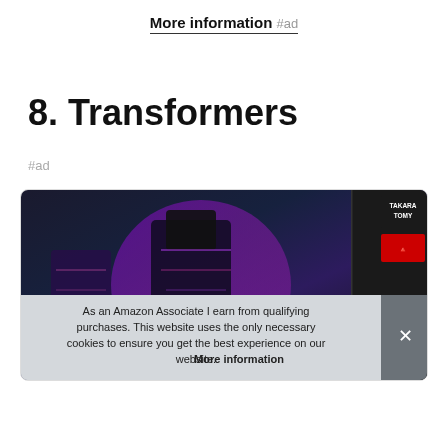More information #ad
8. Transformers
#ad
[Figure (photo): Transformers toy product box with dark artwork showing a robot character, Takara Tomy branding visible in the top right corner.]
As an Amazon Associate I earn from qualifying purchases. This website uses the only necessary cookies to ensure you get the best experience on our website. More information